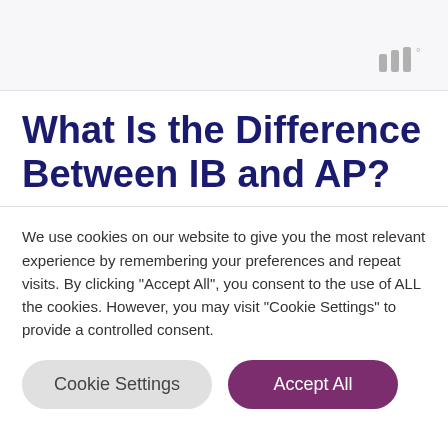[Figure (logo): Stylized logo with three vertical bars and a degree symbol in gray, positioned top-right of banner]
What Is the Difference Between IB and AP?
We use cookies on our website to give you the most relevant experience by remembering your preferences and repeat visits. By clicking “Accept All”, you consent to the use of ALL the cookies. However, you may visit "Cookie Settings" to provide a controlled consent.